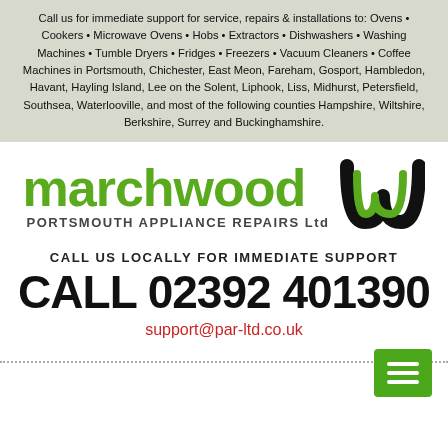Call us for immediate support for service, repairs & installations to: Ovens • Cookers • Microwave Ovens • Hobs • Extractors • Dishwashers • Washing Machines • Tumble Dryers • Fridges • Freezers • Vacuum Cleaners • Coffee Machines in Portsmouth, Chichester, East Meon, Fareham, Gosport, Hambledon, Havant, Hayling Island, Lee on the Solent, Liphook, Liss, Midhurst, Petersfield, Southsea, Waterlooville, and most of the following counties Hampshire, Wiltshire, Berkshire, Surrey and Buckinghamshire.
[Figure (logo): Marchwood Portsmouth Appliance Repairs Ltd logo with green text and stylized M icon in black and green]
CALL US LOCALLY FOR IMMEDIATE SUPPORT
CALL 02392 401390
support@par-ltd.co.uk